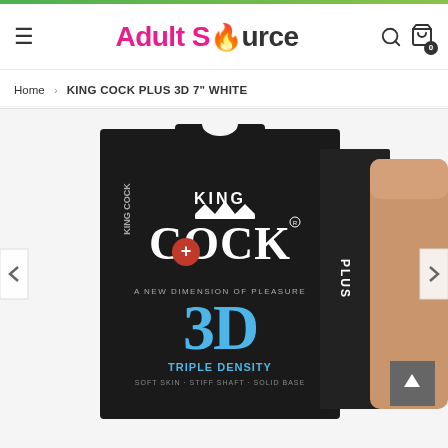Adult Source — navigation header with hamburger menu, logo, search and cart icons
Home › KING COCK PLUS 3D 7" WHITE
[Figure (photo): Product image showing King Cock Plus 3D Triple Density packaging box on a dark background, with the product partially visible on the right side. The black box features the King Cock Plus logo with a crown, a red circle with a plus sign, and blue 3D lettering reading 'Triple Density - Soft Skin - Stiff Shaft - Solid Base'.]